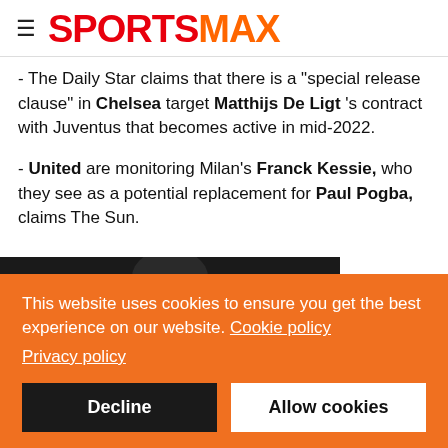SPORTSMAX
- The Daily Star claims that there is a "special release clause" in Chelsea target Matthijs De Ligt 's contract with Juventus that becomes active in mid-2022.
- United are monitoring Milan's Franck Kessie, who they see as a potential replacement for Paul Pogba, claims The Sun.
[Figure (photo): Partial dark photo at bottom of page, partially obscured by cookie banner]
Rumour
This website uses cookies to ensure you get the best experience on our website. Cookie policy Privacy policy
Decline
Allow cookies